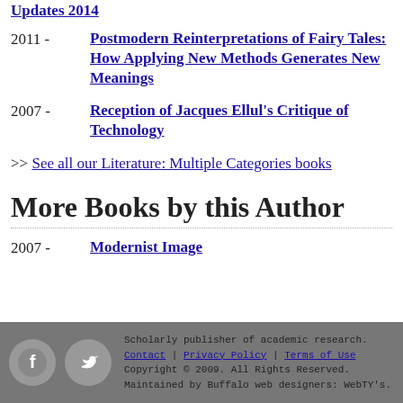2011 - Postmodern Reinterpretations of Fairy Tales: How Applying New Methods Generates New Meanings
2007 - Reception of Jacques Ellul's Critique of Technology
>> See all our Literature: Multiple Categories books
More Books by this Author
2007 - Modernist Image
Scholarly publisher of academic research. Contact | Privacy Policy | Terms of Use Copyright © 2009. All Rights Reserved. Maintained by Buffalo web designers: WebTY's.